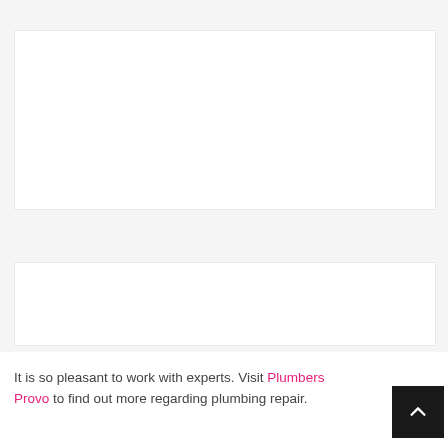[Figure (other): Large white content card placeholder (empty white rectangle)]
[Figure (other): Small white content card placeholder (empty white rectangle)]
It is so pleasant to work with experts. Visit Plumb[ers] Provo to find out more regarding plumbing repair.